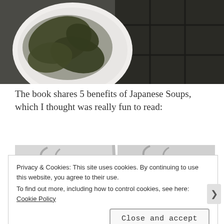[Figure (photo): Photo of a white bowl containing dark green cooked seaweed/kelp pieces, next to a black cast-iron or dark cooking surface/grill, viewed from above.]
The book shares 5 benefits of Japanese Soups, which I thought was really fun to read:
[Figure (photo): Two side-by-side grayscale or light-toned images, appearing to show wispy smoke or steam patterns on a light background, possibly from a book page.]
Privacy & Cookies: This site uses cookies. By continuing to use this website, you agree to their use.
To find out more, including how to control cookies, see here: Cookie Policy
Close and accept